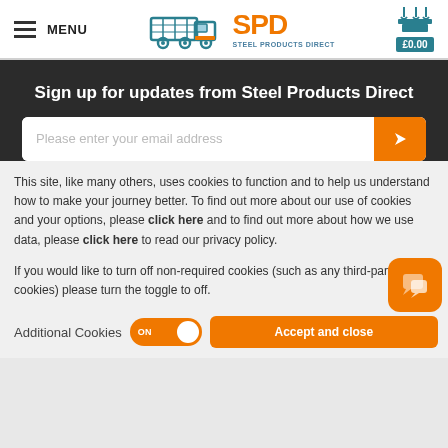MENU | SPD STEEL PRODUCTS DIRECT | £0.00
Sign up for updates from Steel Products Direct
This site, like many others, uses cookies to function and to help us understand how to make your journey better. To find out more about our use of cookies and your options, please click here and to find out more about how we use data, please click here to read our privacy policy.
If you would like to turn off non-required cookies (such as any third-party cookies) please turn the toggle to off.
Additional Cookies ON  Accept and close